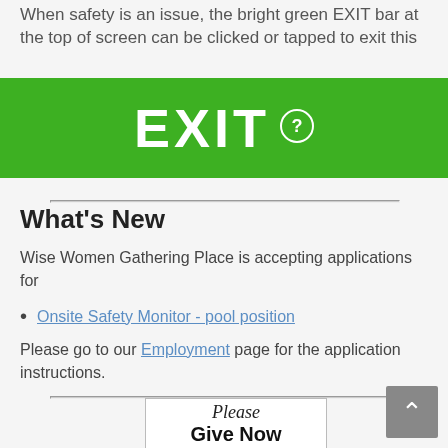When safety is an issue, the bright green EXIT bar at the top of screen can be clicked or tapped to exit this
[Figure (screenshot): Bright green EXIT bar with white bold EXIT text and a green circle with question mark icon]
What's New
Wise Women Gathering Place is accepting applications for
Onsite Safety Monitor - pool position
Please go to our Employment page for the application instructions.
[Figure (illustration): Please Give Now fundraising image with decorative script text and bold black text]